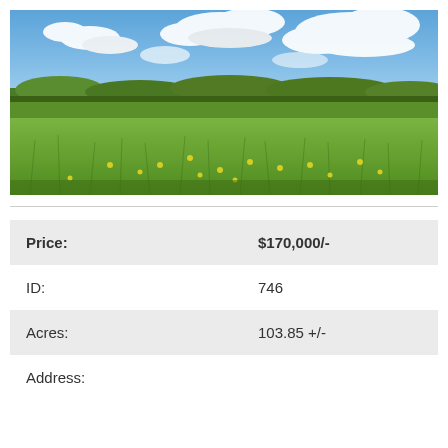[Figure (photo): Panoramic view of a green field with wildflowers under a partly cloudy blue sky, with trees and hills in the background.]
| Field | Value |
| --- | --- |
| Price: | $170,000/- |
| ID: | 746 |
| Acres: | 103.85 +/- |
| Address: |  |